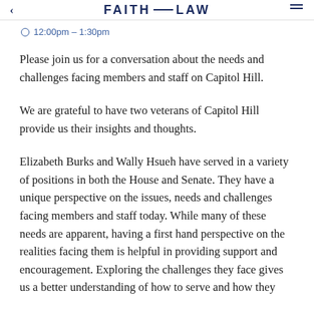FAITH AND LAW
12:00pm – 1:30pm
Please join us for a conversation about the needs and challenges facing members and staff on Capitol Hill.
We are grateful to have two veterans of Capitol Hill provide us their insights and thoughts.
Elizabeth Burks and Wally Hsueh have served in a variety of positions in both the House and Senate. They have a unique perspective on the issues, needs and challenges facing members and staff today. While many of these needs are apparent, having a first hand perspective on the realities facing them is helpful in providing support and encouragement. Exploring the challenges they face gives us a better understanding of how to serve and how they...